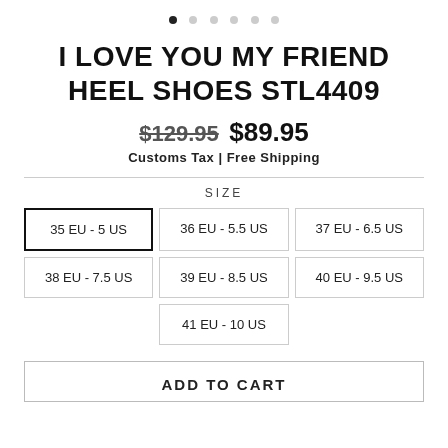[Figure (other): Carousel navigation dots — 6 dots, first one filled/active]
I LOVE YOU MY FRIEND HEEL SHOES STL4409
$129.95  $89.95
Customs Tax | Free Shipping
SIZE
35 EU - 5 US
36 EU - 5.5 US
37 EU - 6.5 US
38 EU - 7.5 US
39 EU - 8.5 US
40 EU - 9.5 US
41 EU - 10 US
ADD TO CART